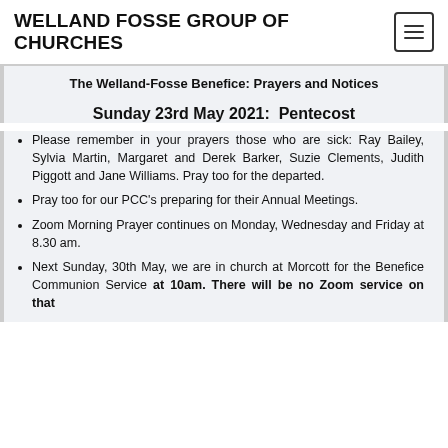WELLAND FOSSE GROUP OF CHURCHES
The Welland-Fosse Benefice: Prayers and Notices
Sunday 23rd May 2021:  Pentecost
Please remember in your prayers those who are sick: Ray Bailey, Sylvia Martin, Margaret and Derek Barker, Suzie Clements, Judith Piggott and Jane Williams. Pray too for the departed.
Pray too for our PCC's preparing for their Annual Meetings.
Zoom Morning Prayer continues on Monday, Wednesday and Friday at 8.30 am.
Next Sunday, 30th May, we are in church at Morcott for the Benefice Communion Service at 10am. There will be no Zoom service on that